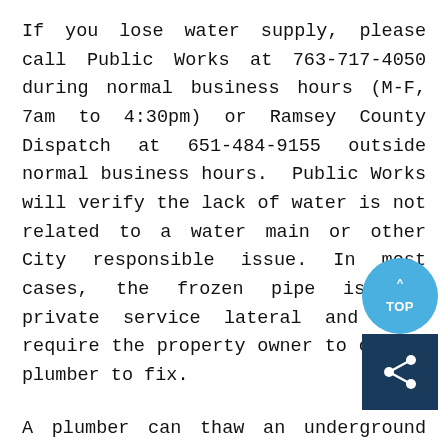If you lose water supply, please call Public Works at 763-717-4050 during normal business hours (M-F, 7am to 4:30pm) or Ramsey County Dispatch at 651-484-9155 outside normal business hours. Public Works will verify the lack of water is not related to a water main or other City responsible issue. In most cases, the frozen pipe is the private service lateral and will require the property owner to call a plumber to fix.
A plumber can thaw an underground pipe by two common processes involving electrical thawing and hot-water or steam thawing. Public Works discourages the use of electrical thawing due to the potential risks of house fires and smaller property damages to appliances, electronics, etc. This damage can occur to neighboring properties as